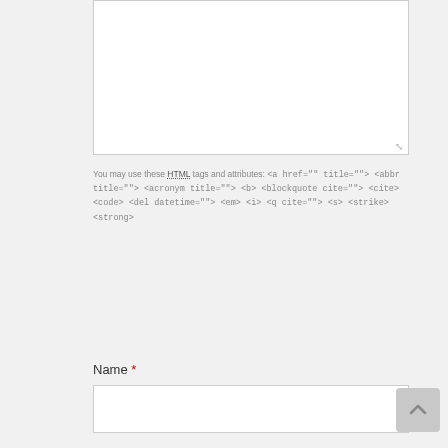[Figure (screenshot): A large empty textarea input box with a resize handle in the bottom-right corner]
You may use these HTML tags and attributes: <a href="" title=""> <abbr title=""> <acronym title=""> <b> <blockquote cite=""> <cite> <code> <del datetime=""> <em> <i> <q cite=""> <s> <strike> <strong>
Name *
[Figure (screenshot): An empty text input box for Name field]
[Figure (other): Back to top button with upward arrow chevron icon]